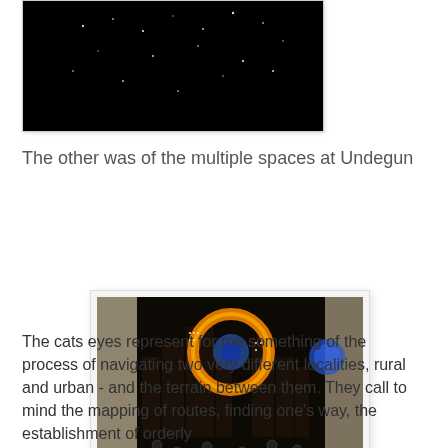[Figure (photo): Dark/black photograph showing scattered white dots resembling stars on a dark background]
The other was of the multiple spaces at Undegun
[Figure (photo): Photograph of an illuminated architectural model or installation of a city skyline at night, with glowing orange/amber ring and blue circular element visible among dark building forms]
The cats eyes represent for me something of the process of navigating two very different localities, rural and urban - and the terrain between them. They call to mind the mapping of routes, finding one's way, the establishment of orderly